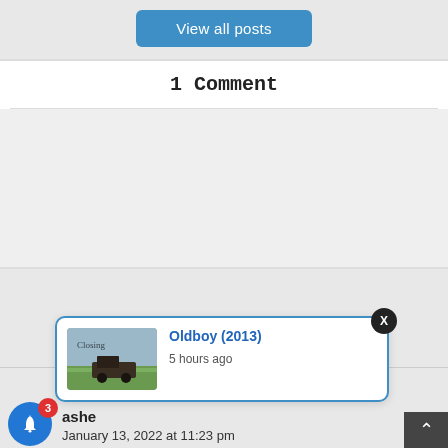View all posts
1 Comment
ashe
January 13, 2022 at 11:23 pm
[Figure (screenshot): Notification popup showing 'Oldboy (2013)' with a thumbnail image and '5 hours ago' timestamp]
Oldboy (2013)
5 hours ago